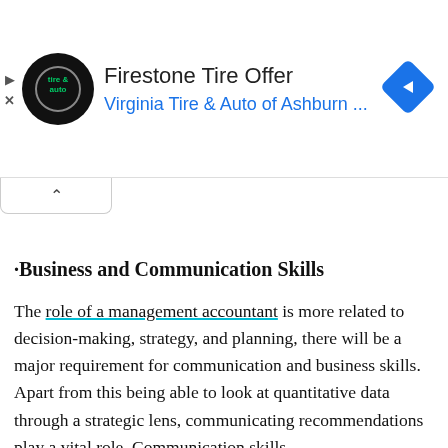[Figure (screenshot): Advertisement banner for Firestone Tire Offer from Virginia Tire & Auto of Ashburn with logo and navigation arrow icon]
· Business and Communication Skills
The role of a management accountant is more related to decision-making, strategy, and planning, there will be a major requirement for communication and business skills. Apart from this being able to look at quantitative data through a strategic lens, communicating recommendations play a vital role. Communication skills